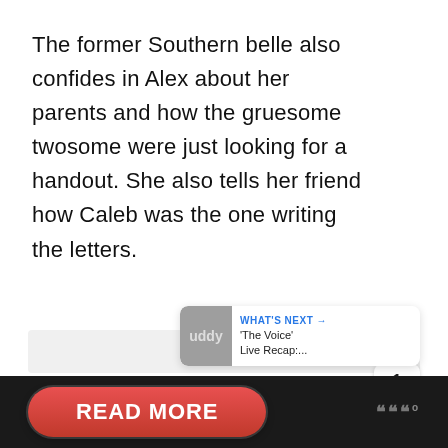The former Southern belle also confides in Alex about her parents and how the gruesome twosome were just looking for a handout. She also tells her friend how Caleb was the one writing the letters.
[Figure (screenshot): UI widget with heart/like button (blue circle), count '1', share button, and a 'WHAT'S NEXT' card showing 'The Voice' Live Recap:... with a gray avatar thumbnail]
READ MORE